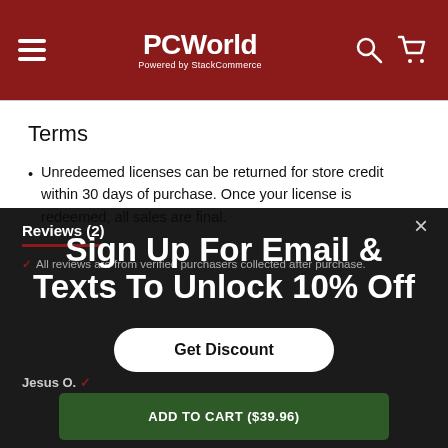PCWorld Powered by StackCommerce
Terms
Unredeemed licenses can be returned for store credit within 30 days of purchase. Once your license is redeemed, all sales are final.
Reviews (2)
All reviews are from verified purchasers collected after purchase.
Sign Up For Email & Texts To Unlock 10% Off
Get Discount
Jesus O.
ADD TO CART ($39.96)